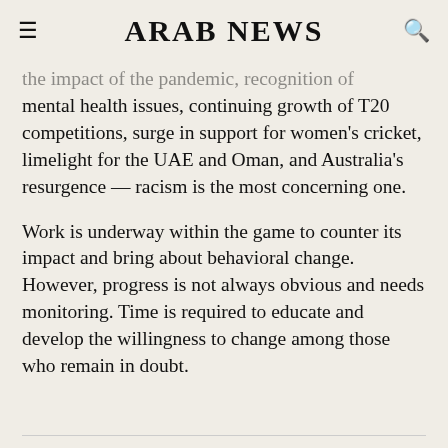ARAB NEWS
the impact of the pandemic, recognition of mental health issues, continuing growth of T20 competitions, surge in support for women's cricket, limelight for the UAE and Oman, and Australia's resurgence — racism is the most concerning one.
Work is underway within the game to counter its impact and bring about behavioral change. However, progress is not always obvious and needs monitoring. Time is required to educate and develop the willingness to change among those who remain in doubt.